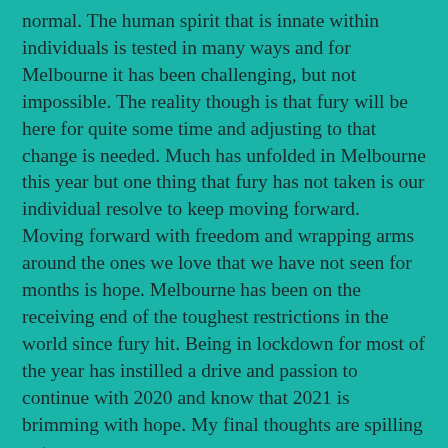normal. The human spirit that is innate within individuals is tested in many ways and for Melbourne it has been challenging, but not impossible. The reality though is that fury will be here for quite some time and adjusting to that change is needed. Much has unfolded in Melbourne this year but one thing that fury has not taken is our individual resolve to keep moving forward. Moving forward with freedom and wrapping arms around the ones we love that we have not seen for months is hope. Melbourne has been on the receiving end of the toughest restrictions in the world since fury hit. Being in lockdown for most of the year has instilled a drive and passion to continue with 2020 and know that 2021 is brimming with hope. My final thoughts are spilling onto my page.
Hope is a wonderful thing, adversity tests character and a once in a lifetime event will not take away my spirit and that of my fellow Melbournians.